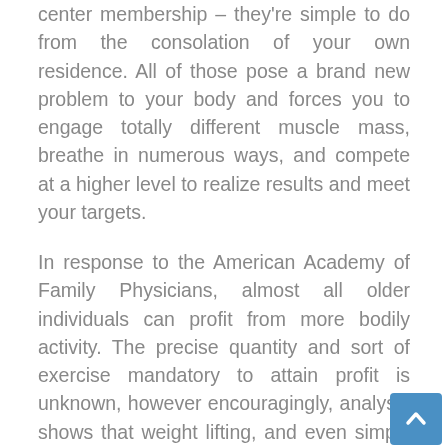center membership – they're simple to do from the consolation of your own residence. All of those pose a brand new problem to your body and forces you to engage totally different muscle mass, breathe in numerous ways, and compete at a higher level to realize results and meet your targets.
In response to the American Academy of Family Physicians, almost all older individuals can profit from more bodily activity. The precise quantity and sort of exercise mandatory to attain profit is unknown, however encouragingly, analysis shows that weight lifting, and even simply strolling, can enhance bone density in the hip and backbone.
Constructing muscle can also be a certain